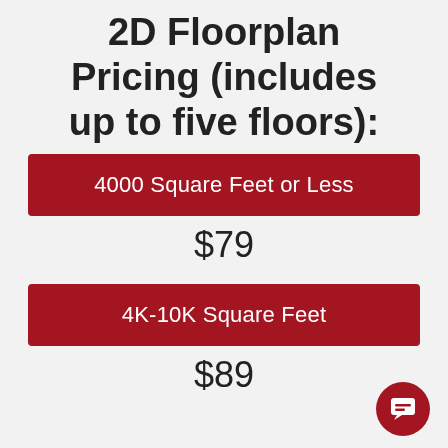2D Floorplan Pricing (includes up to five floors):
4000 Square Feet or Less
$79
4K-10K Square Feet
$89